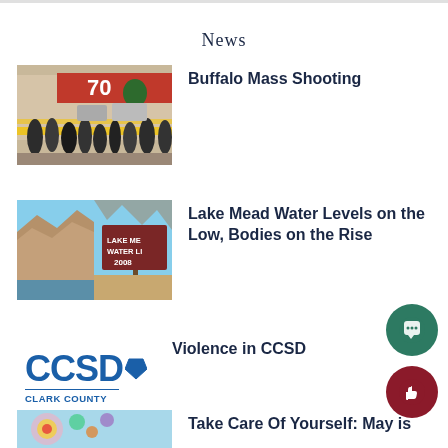News
[Figure (photo): Crime scene photo outside a store with yellow police tape and crowds, Buffalo shooting]
Buffalo Mass Shooting
[Figure (photo): Composite photo of Lake Mead water levels showing a sign reading LAKE MEAD WATER LINE 2008 and drought conditions]
Lake Mead Water Levels on the Low, Bodies on the Rise
[Figure (logo): CCSD Clark County School District logo]
Violence in CCSD
[Figure (photo): Colorful mandala/art image]
Take Care Of Yourself: May is